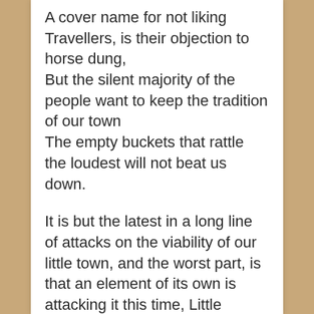A cover name for not liking Travellers, is their objection to horse dung,
But the silent majority of the people want to keep the tradition of our town
The empty buckets that rattle the loudest will not beat us down.

It is but the latest in a long line of attacks on the viability of our little town, and the worst part, is that an element of its own is attacking it this time, Little Irelanders, or Middle Irelanders, the kind that hate working classes for having no money, and the old anglo Irish